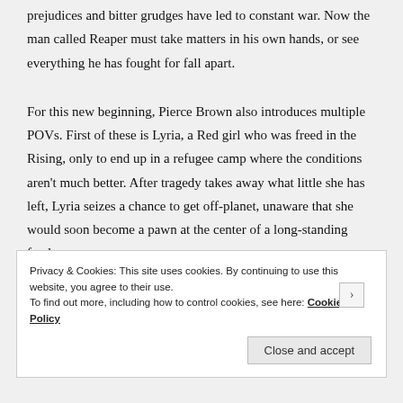prejudices and bitter grudges have led to constant war. Now the man called Reaper must take matters in his own hands, or see everything he has fought for fall apart.
For this new beginning, Pierce Brown also introduces multiple POVs. First of these is Lyria, a Red girl who was freed in the Rising, only to end up in a refugee camp where the conditions aren't much better. After tragedy takes away what little she has left, Lyria seizes a chance to get off-planet, unaware that she would soon become a pawn at the center of a long-standing feud.
Meanwhile, Ephraim is an ex-soldier, angry and bitter with grief.
Privacy & Cookies: This site uses cookies. By continuing to use this website, you agree to their use.
To find out more, including how to control cookies, see here: Cookie Policy
Close and accept